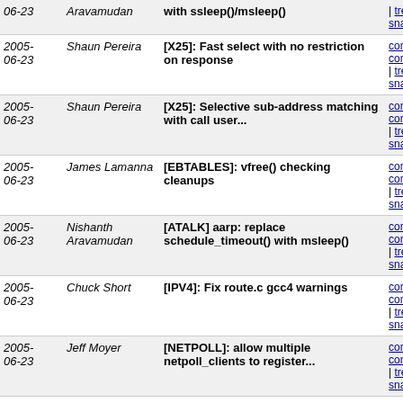| Date | Author | Message | Links |
| --- | --- | --- | --- |
| 2005-06-23 | Aravamudan | with ssleep()/msleep() | commit | commitdiff | tree | snapshot |
| 2005-06-23 | Shaun Pereira | [X25]: Fast select with no restriction on response | commit | commitdiff | tree | snapshot |
| 2005-06-23 | Shaun Pereira | [X25]: Selective sub-address matching with call user... | commit | commitdiff | tree | snapshot |
| 2005-06-23 | James Lamanna | [EBTABLES]: vfree() checking cleanups | commit | commitdiff | tree | snapshot |
| 2005-06-23 | Nishanth Aravamudan | [ATALK] aarp: replace schedule_timeout() with msleep() | commit | commitdiff | tree | snapshot |
| 2005-06-23 | Chuck Short | [IPV4]: Fix route.c gcc4 warnings | commit | commitdiff | tree | snapshot |
| 2005-06-23 | Jeff Moyer | [NETPOLL]: allow multiple netpoll_clients to register... | commit | commitdiff | tree | snapshot |
| 2005-06-23 | Jeff Moyer | [NETPOLL]: Introduce a netpoll_info struct | commit | commitdiff | tree | snapshot |
| 2005-06-23 | Jeff Moyer | [NETPOLL]: Set poll_owner to -1 before unlocking in... | commit | commitdiff | tree | snapshot |
| 2005-06-23 | Christoph Lameter | [PATCH] boot_pageset must not be freed. | commit | commitdiff | tree | snapshot |
| 2005-06-22 | Linus Torvalds | Merge master.kernel.org:/home/rmk/linux-2.6- | commit | commitdiff | tree | |